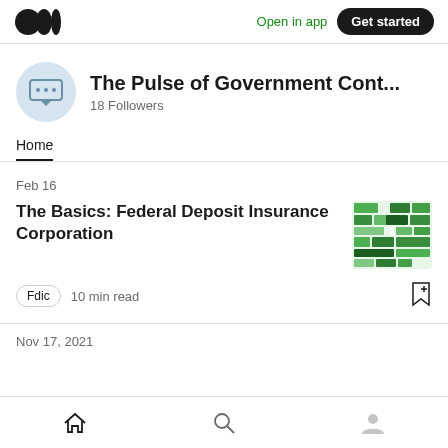Open in app  Get started
The Pulse of Government Cont...
18 Followers
Home
Feb 16
The Basics: Federal Deposit Insurance Corporation
Fdic  10 min read
Nov 17, 2021
Home  Search  Profile